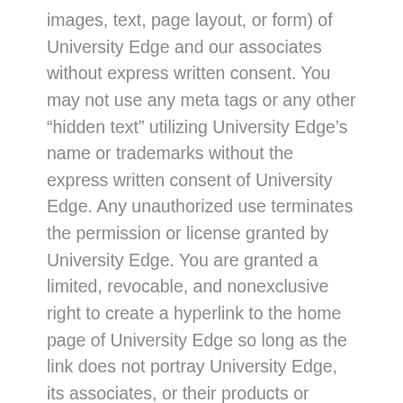images, text, page layout, or form) of University Edge and our associates without express written consent. You may not use any meta tags or any other “hidden text” utilizing University Edge’s name or trademarks without the express written consent of University Edge. Any unauthorized use terminates the permission or license granted by University Edge. You are granted a limited, revocable, and nonexclusive right to create a hyperlink to the home page of University Edge so long as the link does not portray University Edge, its associates, or their products or services in a false, misleading, derogatory, or otherwise offensive matter. You may not use any University Edge logo or other proprietary graphic or trademark as part of the link